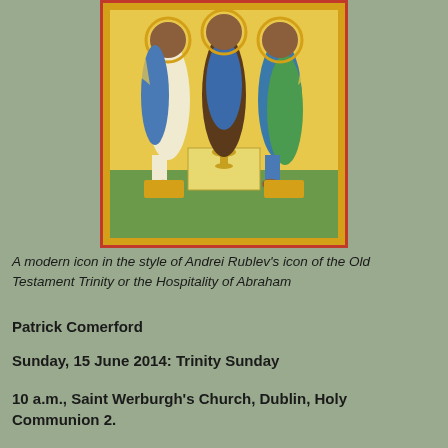[Figure (illustration): A modern icon in the style of Andrei Rublev's icon of the Old Testament Trinity or the Hospitality of Abraham, showing three angelic figures seated around a table with a chalice.]
A modern icon in the style of Andrei Rublev's icon of the Old Testament Trinity or the Hospitality of Abraham
Patrick Comerford
Sunday, 15 June 2014: Trinity Sunday
10 a.m., Saint Werburgh's Church, Dublin, Holy Communion 2.